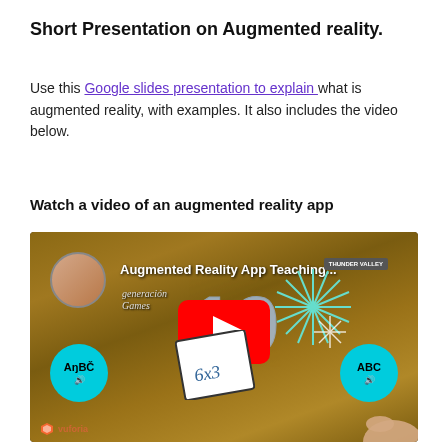Short Presentation on Augmented reality.
Use this Google slides presentation to explain what is augmented reality, with examples. It also includes the video below.
Watch a video of an augmented reality app
[Figure (screenshot): YouTube video thumbnail showing an augmented reality app with cards on a wooden table. Text reads 'Augmented Reality App Teaching...' with Generation Games branding, Thunder Valley badge, cyan ABC bubbles with speaker icons on left and right, and Vuforia logo at bottom.]